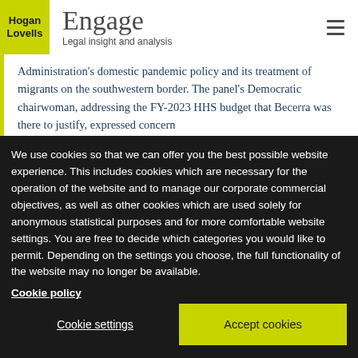[Figure (logo): Hogan Lovells logo on yellow-green background]
Engage
Legal insight and analysis
Administration’s domestic pandemic policy and its treatment of migrants on the southwestern border. The panel’s Democratic chairwoman, addressing the FY-2023 HHS budget that Becerra was there to justify, expressed concern
We use cookies so that we can offer you the best possible website experience. This includes cookies which are necessary for the operation of the website and to manage our corporate commercial objectives, as well as other cookies which are used solely for anonymous statistical purposes and for more comfortable website settings. You are free to decide which categories you would like to permit. Depending on the settings you choose, the full functionality of the website may no longer be available.
Cookie policy
Cookie settings
Accept cookies